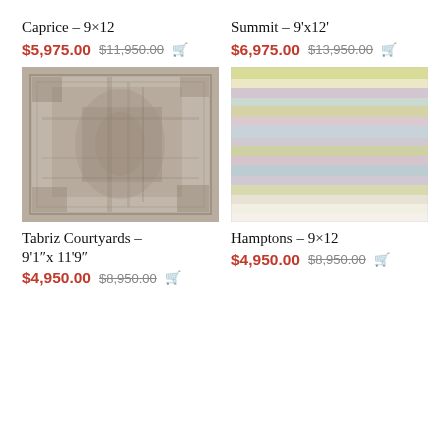Caprice – 9×12
$5,975.00  $11,950.00
[Figure (photo): Tabriz Courtyards rug, grey/beige distressed pattern, 9'1" x 11'9"]
Tabriz Courtyards – 9'1"x 11'9"
$4,950.00  $8,950.00
Summit – 9'x12'
$6,975.00  $13,950.00
[Figure (photo): Hamptons rug, colorful horizontal pastel stripes, 9×12]
Hamptons – 9×12
$4,950.00  $8,950.00